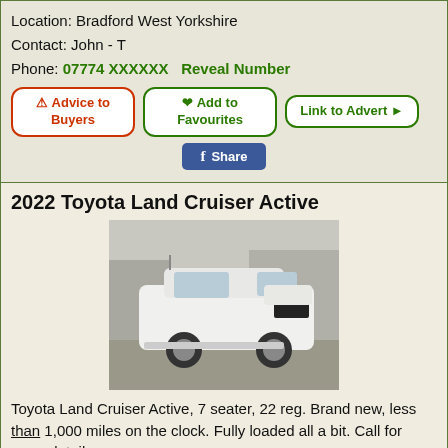Location: Bradford West Yorkshire
Contact: John - T
Phone: 07774 XXXXXX   Reveal Number
Advice to Buyers | Add to Favourites | Link to Advert
Share (Facebook)
2022 Toyota Land Cruiser Active
[Figure (photo): White Toyota Land Cruiser Active SUV parked outdoors]
Toyota Land Cruiser Active, 7 seater, 22 reg. Brand new, less than 1,000 miles on the clock. Fully loaded all a bit. Call for more details.